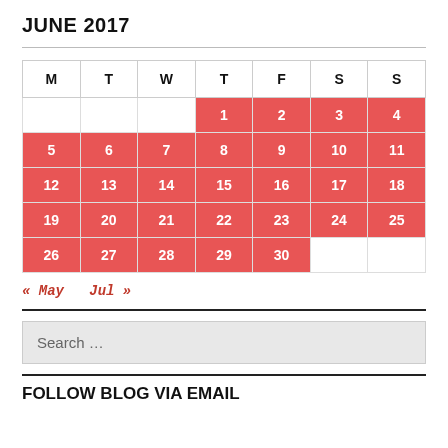JUNE 2017
| M | T | W | T | F | S | S |
| --- | --- | --- | --- | --- | --- | --- |
|  |  |  | 1 | 2 | 3 | 4 |
| 5 | 6 | 7 | 8 | 9 | 10 | 11 |
| 12 | 13 | 14 | 15 | 16 | 17 | 18 |
| 19 | 20 | 21 | 22 | 23 | 24 | 25 |
| 26 | 27 | 28 | 29 | 30 |  |  |
« May   Jul »
Search ...
FOLLOW BLOG VIA EMAIL